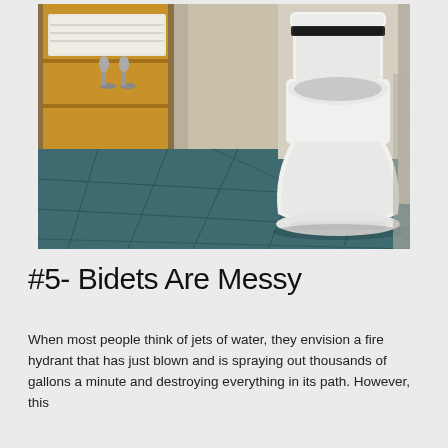[Figure (photo): A modern white one-piece toilet with a bidet seat in a bathroom with teal/dark green floor tiles, wooden shelving unit in the background with folded towels and decorative silver items, and beige walls.]
#5- Bidets Are Messy
When most people think of jets of water, they envision a fire hydrant that has just blown and is spraying out thousands of gallons a minute and destroying everything in its path. However, this